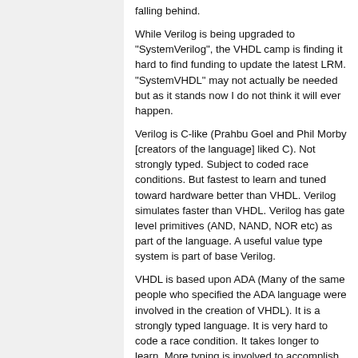falling behind.
While Verilog is being upgraded to "SystemVerilog", the VHDL camp is finding it hard to find funding to update the latest LRM. "SystemVHDL" may not actually be needed but as it stands now I do not think it will ever happen.
Verilog is C-like (Prahbu Goel and Phil Morby [creators of the language] liked C). Not strongly typed. Subject to coded race conditions. But fastest to learn and tuned toward hardware better than VHDL. Verilog simulates faster than VHDL. Verilog has gate level primitives (AND, NAND, NOR etc) as part of the language. A useful value type system is part of base Verilog.
VHDL is based upon ADA (Many of the same people who specified the ADA language were involved in the creation of VHDL). It is a strongly typed language. It is very hard to code a race condition. It takes longer to learn. More typing is involved to accomplish the same task in VHDL as compared to Verilog. VHDL